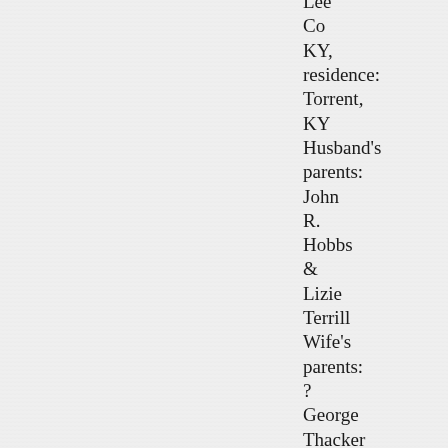Lee Co KY, residence: Torrent, KY Husband's parents: John R. Hobbs & Lizie Terrill Wife's parents: ? George Thacker & Maude Wells